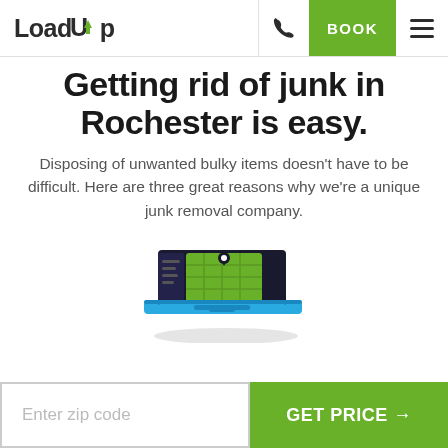LoadUp | BOOK
Getting rid of junk in Rochester is easy.
Disposing of unwanted bulky items doesn't have to be difficult. Here are three great reasons why we're a unique junk removal company.
[Figure (illustration): Illustration of a laptop with a green map/routing interface displayed on screen, shown in an isometric style with a shadow.]
Enter zip code | GET PRICE →